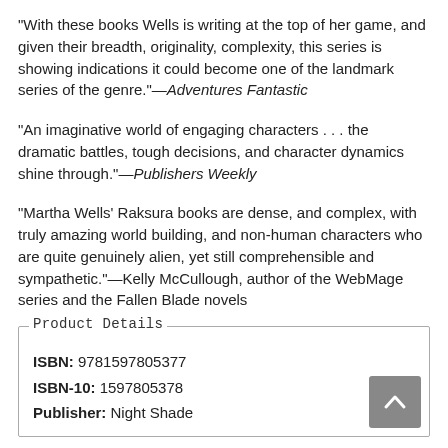“With these books Wells is writing at the top of her game, and given their breadth, originality, complexity, this series is showing indications it could become one of the landmark series of the genre.”—Adventures Fantastic
“An imaginative world of engaging characters . . . the dramatic battles, tough decisions, and character dynamics shine through.”—Publishers Weekly
“Martha Wells’ Raksura books are dense, and complex, with truly amazing world building, and non-human characters who are quite genuinely alien, yet still comprehensible and sympathetic.”—Kelly McCullough, author of the WebMage series and the Fallen Blade novels
Product Details
ISBN: 9781597805377
ISBN-10: 1597805378
Publisher: Night Shade